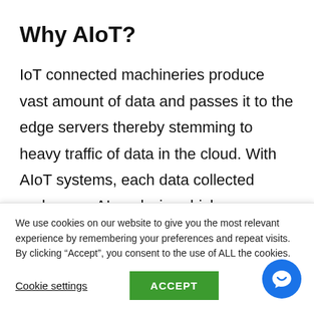Why AIoT?
IoT connected machineries produce vast amount of data and passes it to the edge servers thereby stemming to heavy traffic of data in the cloud. With AIoT systems, each data collected undergoes AI analysis, which processes the data turning them to useful information giving the users insights on the
We use cookies on our website to give you the most relevant experience by remembering your preferences and repeat visits. By clicking “Accept”, you consent to the use of ALL the cookies.
Cookie settings
ACCEPT